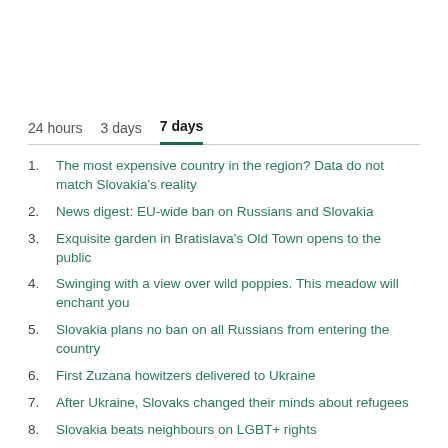24 hours   3 days   7 days
The most expensive country in the region? Data do not match Slovakia's reality
News digest: EU-wide ban on Russians and Slovakia
Exquisite garden in Bratislava's Old Town opens to the public
Swinging with a view over wild poppies. This meadow will enchant you
Slovakia plans no ban on all Russians from entering the country
First Zuzana howitzers delivered to Ukraine
After Ukraine, Slovaks changed their minds about refugees
Slovakia beats neighbours on LGBT+ rights
Who are the wildlife…